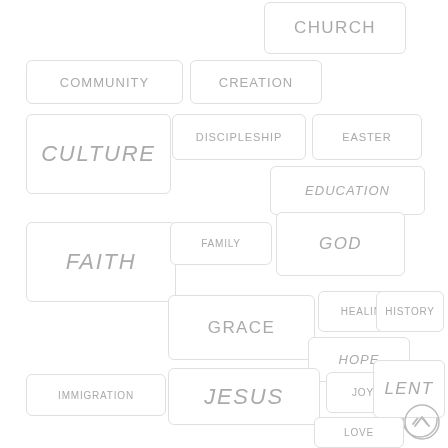CHURCH
COMMUNITY
CREATION
CULTURE
DISCIPLESHIP
EASTER
EDUCATION
FAITH
FAMILY
GOD
GRACE
HEALING
HISTORY
HOPE
IMMIGRATION
JESUS
JOY
LENT
LOVE